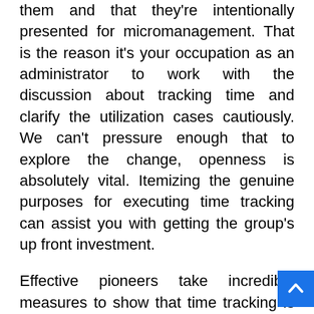them and that they're intentionally presented for micromanagement. That is the reason it's your occupation as an administrator to work with the discussion about tracking time and clarify the utilization cases cautiously. We can't pressure enough that to explore the change, openness is absolutely vital. Itemizing the genuine purposes for executing time tracking can assist you with getting the group's up front investment.
Effective pioneers take incredible measures to show that time tracking is helpful for both – people and business elements. Colleagues can utilize time tracking to run after their own and shared objectives – investing energy where the most worth is made, actually and expertly. Supervisors utilize the time tracking experiences to get an exact outline of the group's max operation, generally speaking prosperity and efficiency, and even errand appropriation.